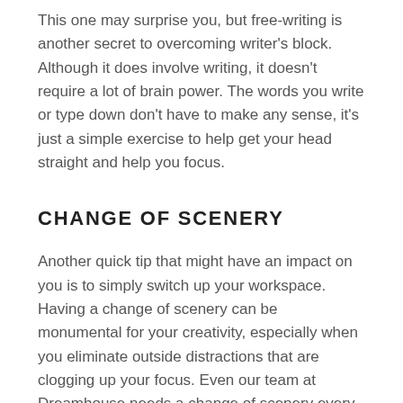This one may surprise you, but free-writing is another secret to overcoming writer's block. Although it does involve writing, it doesn't require a lot of brain power. The words you write or type down don't have to make any sense, it's just a simple exercise to help get your head straight and help you focus.
CHANGE OF SCENERY
Another quick tip that might have an impact on you is to simply switch up your workspace. Having a change of scenery can be monumental for your creativity, especially when you eliminate outside distractions that are clogging up your focus. Even our team at Dreamhouse needs a change of scenery every now and again. We're